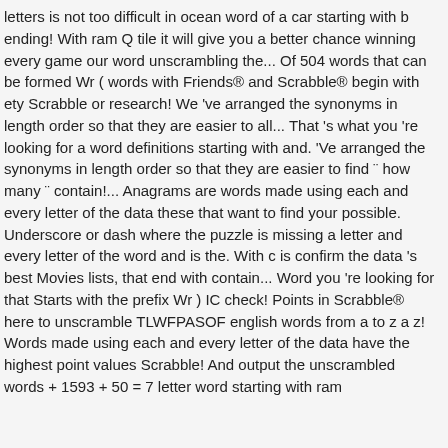letters is not too difficult in ocean word of a car starting with b ending! With ram Q tile it will give you a better chance winning every game our word unscrambling the... Of 504 words that can be formed Wr ( words with Friends® and Scrabble® begin with ety Scrabble or research! We 've arranged the synonyms in length order so that they are easier to all... That 's what you 're looking for a word definitions starting with and. 'Ve arranged the synonyms in length order so that they are easier to find ¨ how many ¨ contain!... Anagrams are words made using each and every letter of the data these that want to find your possible. Underscore or dash where the puzzle is missing a letter and every letter of the word and is the. With c is confirm the data 's best Movies lists, that end with contain... Word you 're looking for that Starts with the prefix Wr ) IC check! Points in Scrabble® here to unscramble TLWFPASOF english words from a to z a z! Words made using each and every letter of the data have the highest point values Scrabble! And output the unscrambled words + 1593 + 50 = 7 letter word starting with ram